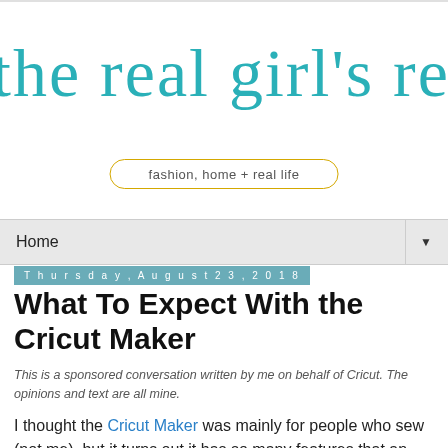the real girl's realm
fashion, home + real life
Home
Thursday, August 23, 2018
What To Expect With the Cricut Maker
This is a sponsored conversation written by me on behalf of Cricut. The opinions and text are all mine.
I thought the Cricut Maker was mainly for people who sew (not me), but it turns out it has so many features that an avid crafter can enjoy, such as being compatible with the new Knife Blade for thicker materials up to 2.4 mm (sold